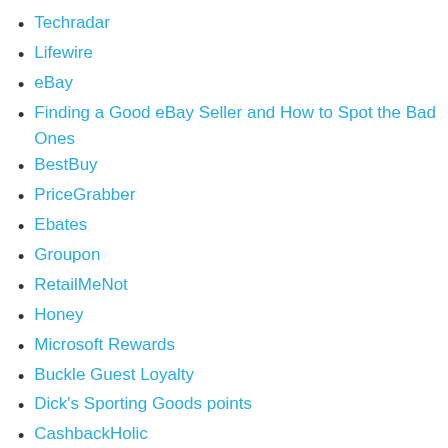Techradar
Lifewire
eBay
Finding a Good eBay Seller and How to Spot the Bad Ones
BestBuy
PriceGrabber
Ebates
Groupon
RetailMeNot
Honey
Microsoft Rewards
Buckle Guest Loyalty
Dick's Sporting Goods points
CashbackHolic
CashChecker (partial, cut off)